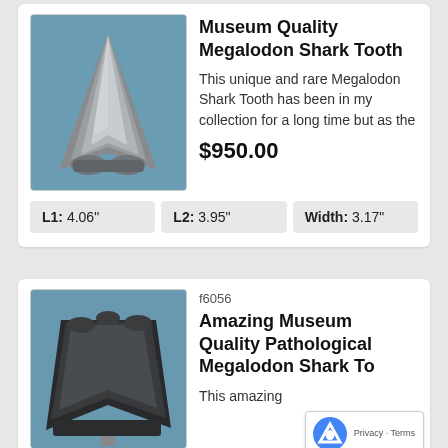[Figure (photo): Photo of a Megalodon shark tooth fossil against blue fabric background]
Museum Quality Megalodon Shark Tooth
This unique and rare Megalodon Shark Tooth has been in my collection for a long time but as the
$950.00
| L1 | L2 | Width |
| --- | --- | --- |
| 4.06" | 3.95" | 3.17" |
f6056
Amazing Museum Quality Pathological Megalodon Shark To
This amazing
[Figure (photo): Photo of a pathological Megalodon shark tooth fossil against blue background]